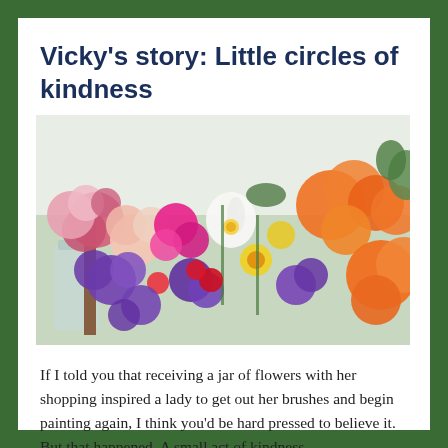Vicky's story: Little circles of kindness
[Figure (photo): A close-up photograph of a colorful bouquet of flowers including pink roses, purple lisianthus, white lilies, orange ranunculus, hot pink ranunculus, and yellow flowers arranged in glass jars.]
If I told you that receiving a jar of flowers with her shopping inspired a lady to get out her brushes and begin painting again, I think you'd be hard pressed to believe it. But that happened. A small act of kindness